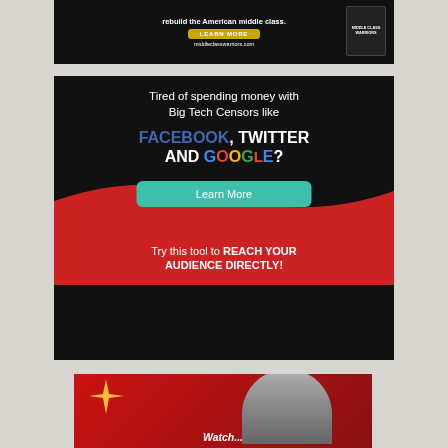[Figure (other): Advertisement banner: 'rebuild the American middle class. LEARN MORE middleclasswarriors.com' with Middle Class Warriors logo on dark background]
[Figure (other): Advertisement: 'Tired of spending money with Big Tech Censors like FACEBOOK, TWITTER AND GOOGLE? Learn More. Try this tool to REACH YOUR AUDIENCE DIRECTLY!' on dark/red background]
[Figure (photo): Partial image of person's head/hair on red background with text starting 'Watch...']